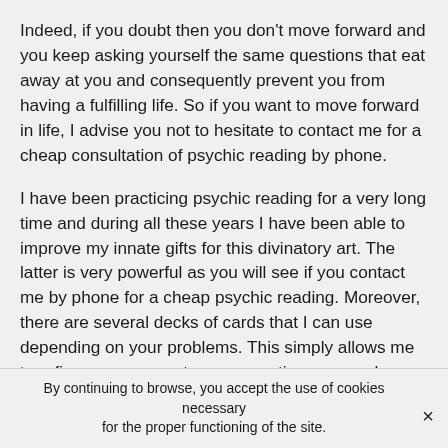Indeed, if you doubt then you don't move forward and you keep asking yourself the same questions that eat away at you and consequently prevent you from having a fulfilling life. So if you want to move forward in life, I advise you not to hesitate to contact me for a cheap consultation of psychic reading by phone.
I have been practicing psychic reading for a very long time and during all these years I have been able to improve my innate gifts for this divinatory art. The latter is very powerful as you will see if you contact me by phone for a cheap psychic reading. Moreover, there are several decks of cards that I can use depending on your problems. This simply allows me to refine my answers to your questions as much as possible. Indeed, it seems essential to me to bring you an answer which is the clearest and the most precise possible to be able to really help you to advance.
By continuing to browse, you accept the use of cookies necessary for the proper functioning of the site.